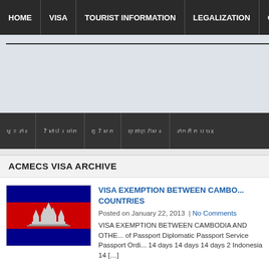HOME | VISA | TOURIST INFORMATION | LEGALIZATION | CO...
[Figure (screenshot): Gray banner/advertisement area with a dark horizontal line near top]
Khmer script navigation bar with 5 menu items
ACMECS VISA ARCHIVE
[Figure (illustration): Cambodian flag - blue and red horizontal stripes with Angkor Wat temple in white at center]
VISA EXEMPTION BETWEEN CAMBODIA AND OTHER COUNTRIES
Posted on January 22, 2013 | No Comments
VISA EXEMPTION BETWEEN CAMBODIA AND OTHER... of Passport Diplomatic Passport Service Passport Ordi... 14 days 14 days 14 days 2 Indonesia 14 [...]